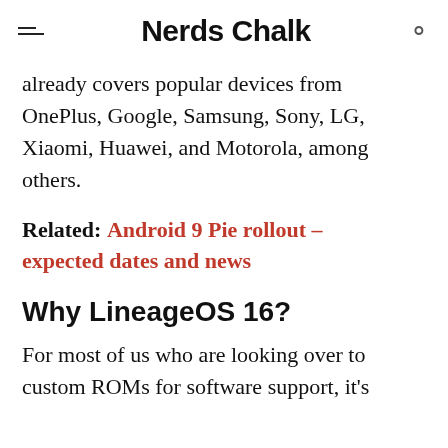Nerds Chalk
already covers popular devices from OnePlus, Google, Samsung, Sony, LG, Xiaomi, Huawei, and Motorola, among others.
Related: Android 9 Pie rollout – expected dates and news
Why LineageOS 16?
For most of us who are looking over to custom ROMs for software support, it's